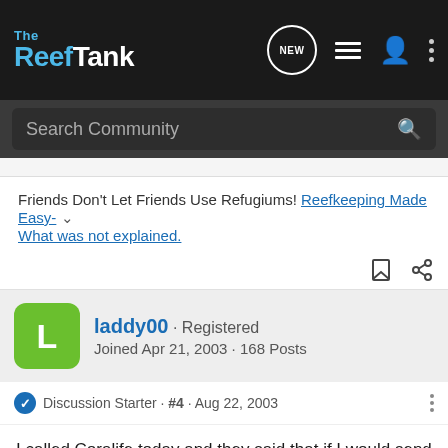The Reef Tank
Friends Don't Let Friends Use Refugiums! Reefkeeping Made Easy- What was not explained.
laddy00 · Registered
Joined Apr 21, 2003 · 168 Posts
Discussion Starter · #4 · Aug 22, 2003
I called Coralife today and they said that if I would send it in they would mail me out a new one. I thought it was going to be alot more trouble but they were really nice. Seams that every once in awhile the vacuum tube gets damaged and the inside of